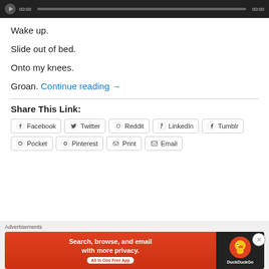[Figure (other): Audio media player bar with play button, timestamp 00:00, progress bar, and end time 00:00]
Wake up.
Slide out of bed.
Onto my knees.
Groan. Continue reading →
Share This Link:
Facebook  Twitter  Reddit  LinkedIn  Tumblr  Pocket  Pinterest  Print  Email
[Figure (infographic): DuckDuckGo advertisement banner: Search, browse, and email with more privacy. All in One Free App. DuckDuckGo logo on dark background.]